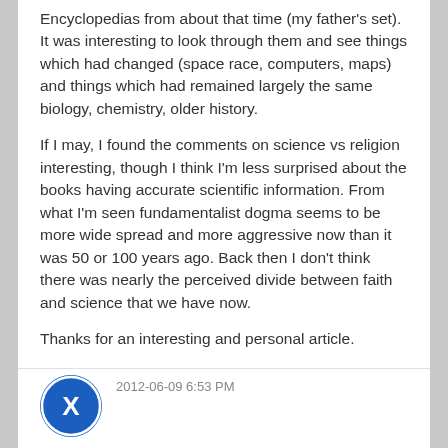Encyclopedias from about that time (my father's set). It was interesting to look through them and see things which had changed (space race, computers, maps) and things which had remained largely the same biology, chemistry, older history.
If I may, I found the comments on science vs religion interesting, though I think I'm less surprised about the books having accurate scientific information. From what I'm seen fundamentalist dogma seems to be more wide spread and more aggressive now than it was 50 or 100 years ago. Back then I don't think there was nearly the perceived divide between faith and science that we have now.
Thanks for an interesting and personal article.
2012-06-09 6:53 PM